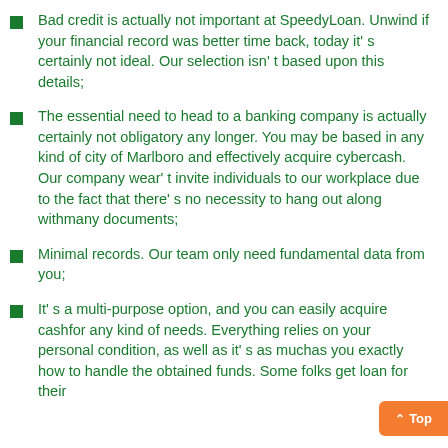Bad credit is actually not important at SpeedyLoan. Unwind if your financial record was better time back, today it's certainly not ideal. Our selection isn't based upon this details;
The essential need to head to a banking company is actually certainly not obligatory any longer. You may be based in any kind of city of Marlboro and effectively acquire cybercash. Our company wear't invite individuals to our workplace due to the fact that there's no necessity to hang out along withmany documents;
Minimal records. Our team only need fundamental data from you;
It's a multi-purpose option, and you can easily acquire cashfor any kind of needs. Everything relies on your personal condition, as well as it's as muchas you exactly how to handle the obtained funds. Some folks get loan for their